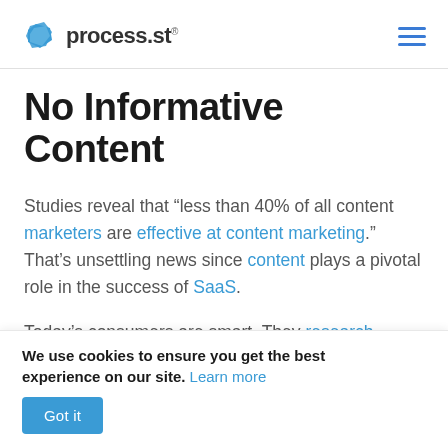process.st
No Informative Content
Studies reveal that “less than 40% of all content marketers are effective at content marketing.” That’s unsettling news since content plays a pivotal role in the success of SaaS.
Today’s consumers are smart. They research products online, ask their friends, and find
We use cookies to ensure you get the best experience on our site. Learn more